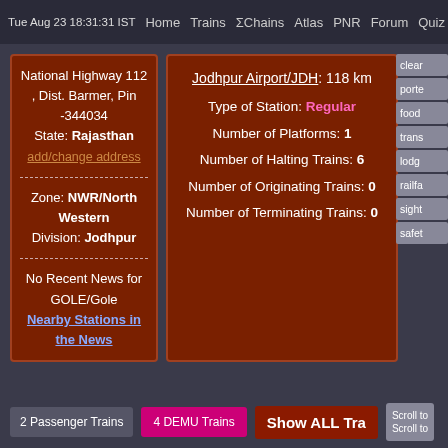Tue Aug 23 18:31:31 IST  Home  Trains  ΣChains  Atlas  PNR  Forum  Quiz R
National Highway 112 , Dist. Barmer, Pin -344034 State: Rajasthan add/change address
Zone: NWR/North Western Division: Jodhpur
No Recent News for GOLE/Gole Nearby Stations in the News
Jodhpur Airport/JDH: 118 km
Type of Station: Regular
Number of Platforms: 1
Number of Halting Trains: 6
Number of Originating Trains: 0
Number of Terminating Trains: 0
clear
porte
food
trans
lodg
railfa
sight
safet
2 Passenger Trains  4 DEMU Trains  Show ALL Tra  Scroll to Scroll to